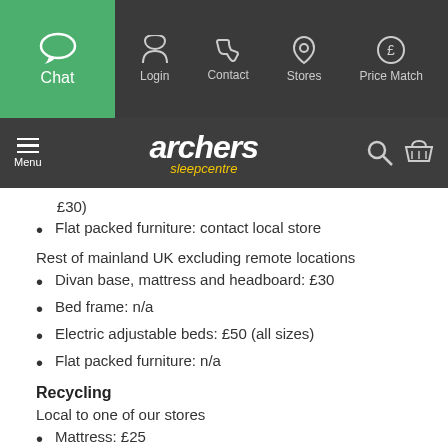Chat | Login | Contact | Stores | Price Match
[Figure (logo): Archers Sleepcentre logo]
£30)
Flat packed furniture: contact local store
Rest of mainland UK excluding remote locations
Divan base, mattress and headboard: £30
Bed frame: n/a
Electric adjustable beds: £50 (all sizes)
Flat packed furniture: n/a
Recycling
Local to one of our stores
Mattress: £25